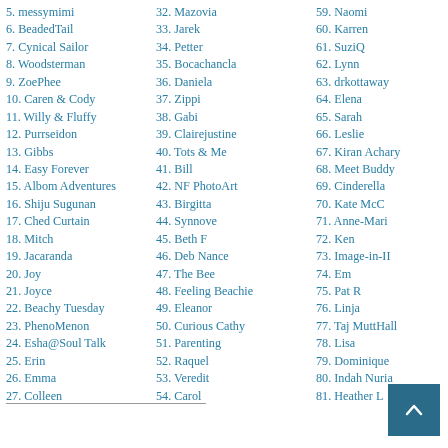5. messymimi
6. BeadedTail
7. Cynical Sailor
8. Woodsterman
9. ZoePhee
10. Caren & Cody
11. Willy & Fluffy
12. Purrseidon
13. Gibbs
14. Easy Forever
15. Albom Adventures
16. Shiju Sugunan
17. Ched Curtain
18. Mitch
19. Jacaranda
20. Joy
21. Joyce
22. Beachy Tuesday
23. PhenoMenon
24. Esha@Soul Talk
25. Erin
26. Emma
27. Colleen
32. Mazovia
33. Jarek
34. Petter
35. Bocachancla
36. Daniela
37. Zippi
38. Gabi
39. Clairejustine
40. Tots & Me
41. Bill
42. NF PhotoArt
43. Birgitta
44. Synnove
45. Beth F
46. Deb Nance
47. The Bee
48. Feeling Beachie
49. Eleanor
50. Curious Cathy
51. Parenting
52. Raquel
53. Veredit
54. Carol
59. Naomi
60. Karren
61. SuziQ
62. Lynn
63. drkottaway
64. Elena
65. Sarah
66. Leslie
67. Kiran Achary
68. Meet Buddy
69. Cinderella
70. Kate McC
71. Anne-Mari
72. Ken
73. Image-in-II
74. Em
75. Pat R
76. Linja
77. Taj MuttHall
78. Lisa
79. Dominique
80. Indah Nuria
81. Heather L